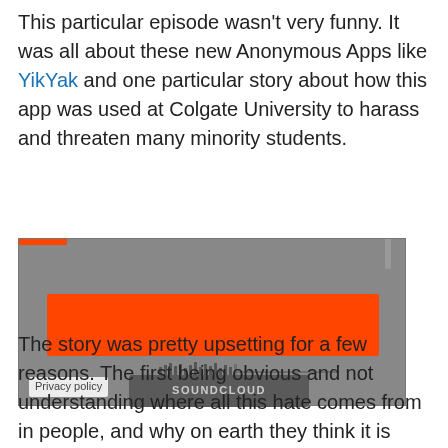This particular episode wasn't very funny. It was all about these new Anonymous Apps like YikYak and one particular story about how this app was used at Colgate University to harass and threaten many minority students.
[Figure (screenshot): A SoundCloud embedded audio player with a grey background, an orange play/scrubber bar, waveform indicator, SOUNDCLOUD button label, a top-left orange accent bar, and a 'Privacy policy' label at the bottom left.]
The story was pretty upsetting for a few reasons. The first being obvious and not understanding where all this hate comes from in people, and why on earth they think it is okay to blurt it out to the world. The second part